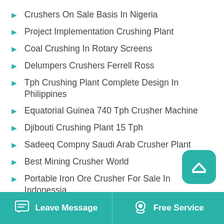Crushers On Sale Basis In Nigeria
Project Implementation Crushing Plant
Coal Crushing In Rotary Screens
Delumpers Crushers Ferrell Ross
Tph Crushing Plant Complete Design In Philippines
Equatorial Guinea 740 Tph Crusher Machine
Djibouti Crushing Plant 15 Tph
Sadeeq Compny Saudi Arab Crusher Plant
Best Mining Crusher World
Portable Iron Ore Crusher For Sale In Indonessia
Leave Message | Free Service